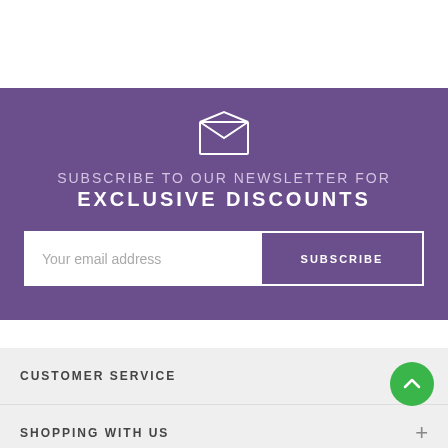[Figure (illustration): Open envelope icon in white outline on purple background]
SUBSCRIBE TO OUR NEWSLETTER FOR
EXCLUSIVE DISCOUNTS
Your email address
SUBSCRIBE
[Figure (illustration): Green circular scroll-to-top button with upward chevron arrow]
CUSTOMER SERVICE
SHOPPING WITH US